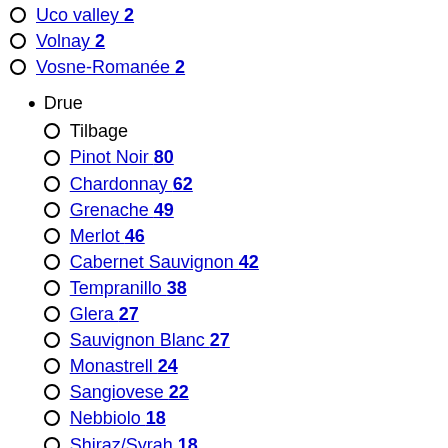Uco valley 2
Volnay 2
Vosne-Romanée 2
Drue
Tilbage
Pinot Noir 80
Chardonnay 62
Grenache 49
Merlot 46
Cabernet Sauvignon 42
Tempranillo 38
Glera 27
Sauvignon Blanc 27
Monastrell 24
Sangiovese 22
Nebbiolo 18
Shiraz/Syrah 18
Riesling 16
Corvina 15
Macabeo 15
Chenin Blanc 10
Zinfandel 10
Cabernet Franc 9
Verdejo 9